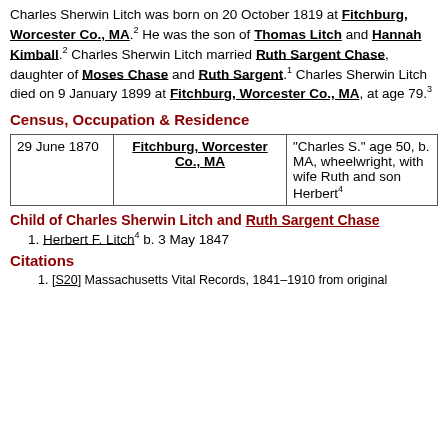Charles Sherwin Litch was born on 20 October 1819 at Fitchburg, Worcester Co., MA.2 He was the son of Thomas Litch and Hannah Kimball.2 Charles Sherwin Litch married Ruth Sargent Chase, daughter of Moses Chase and Ruth Sargent.1 Charles Sherwin Litch died on 9 January 1899 at Fitchburg, Worcester Co., MA, at age 79.3
Census, Occupation & Residence
| Date | Location | Details |
| --- | --- | --- |
| 29 June 1870 | Fitchburg, Worcester Co., MA | "Charles S." age 50, b. MA, wheelwright, with wife Ruth and son Herbert4 |
Child of Charles Sherwin Litch and Ruth Sargent Chase
1. Herbert F. Litch4 b. 3 May 1847
Citations
1. [S20] Massachusetts Vital Records, 1841–1910 from original